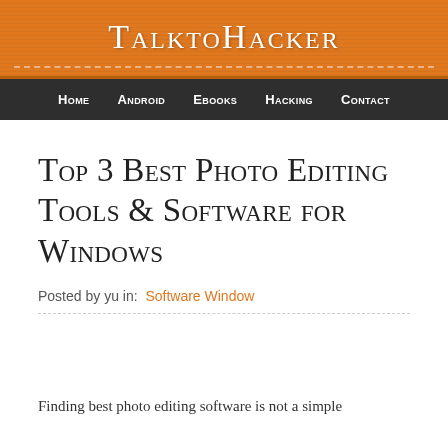TalktoHacker
Home  Android  Ebooks  Hacking  Contact
Top 3 Best Photo Editing Tools & Software for Windows
Posted by yu in:  Software  Window
Finding best photo editing software is not a simple